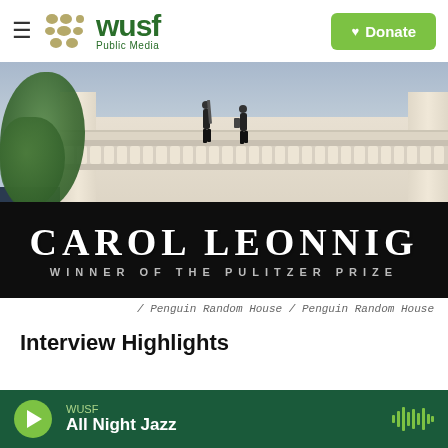WUSF Public Media
[Figure (photo): Book cover photo showing two armed security personnel on a rooftop of a white building with balustrade, with a black banner reading CAROL LEONNIG, WINNER OF THE PULITZER PRIZE]
/ Penguin Random House / Penguin Random House
Interview Highlights
WUSF
All Night Jazz